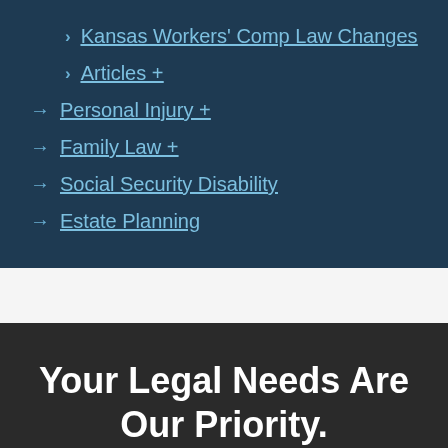Kansas Workers' Comp Law Changes
Articles +
Personal Injury +
Family Law +
Social Security Disability
Estate Planning
Your Legal Needs Are Our Priority.